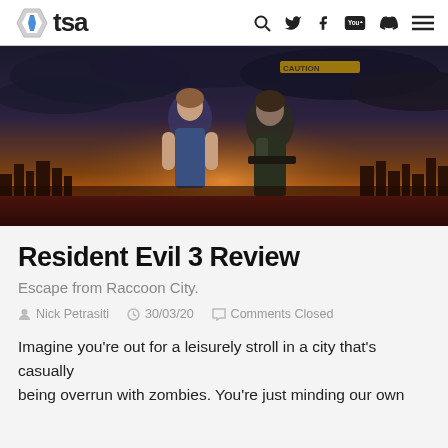tsa
[Figure (photo): Hero image for Resident Evil 3 Review showing two characters (Jill Valentine and Carlos Oliveira) against a dramatic dark sky with a city skyline in background, orange/sunset hues with CAUTION tape visible.]
Resident Evil 3 Review
Escape from Raccoon City.
Nick Petrasiti   30/03/20   Comments Closed
Imagine you're out for a leisurely stroll in a city that's casually being overrun with zombies. You're just minding our own